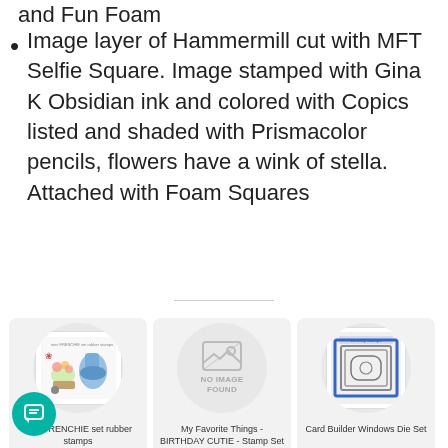and Fun Foam (partial, cut off at top)
Image layer of Hammermill cut with MFT Selfie Square. Image stamped with Gina K Obsidian ink and colored with Copics listed and shaded with Prismacolor pencils, flowers have a wink of stella. Attached with Foam Squares
[Figure (photo): Mini FRENCHIE set rubber stamps product image showing stamps with French-themed designs including boots and flowers]
mini FRENCHIE set rubber stamps
[Figure (photo): No image found placeholder with generic image icon]
My Favorite Things - BIRTHDAY CUTIE - Stamp Set by Pure
[Figure (photo): Card Builder Windows Die Set product image showing a die set with rectangular window frames]
Card Builder Windows Die Set